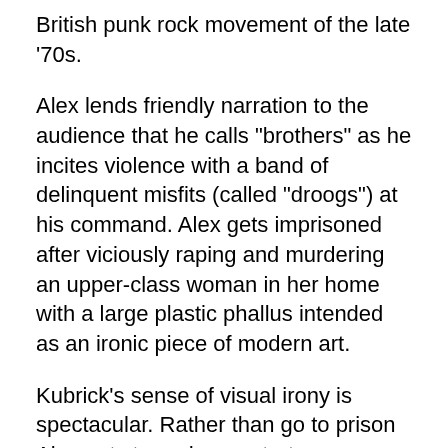British punk rock movement of the late '70s.
Alex lends friendly narration to the audience that he calls "brothers" as he incites violence with a band of delinquent misfits (called "droogs") at his command. Alex gets imprisoned after viciously raping and murdering an upper-class woman in her home with a large plastic phallus intended as an ironic piece of modern art.
Kubrick's sense of visual irony is spectacular. Rather than go to prison Alex opts to undergo a torturous rehabilitation therapy (the "Ludovico technique"), involving forced viewings of Nazi war films accompanied by Beethoven's Ninth Symphony. A scene involving Alex being "cured" with clamps holding his eyelids open, presents a fierce artistically infused portrait of torture. The proven effects of the treatment lead to Alex's release into a society where he is